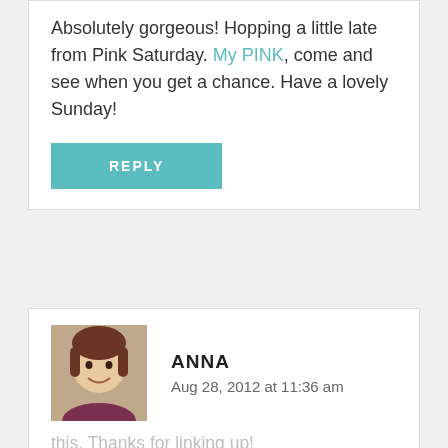Absolutely gorgeous! Hopping a little late from Pink Saturday. My PINK, come and see when you get a chance. Have a lovely Sunday!
REPLY
ANNA
Aug 28, 2012 at 11:36 am
[Figure (photo): Avatar photo of Anna, a woman with brown hair smiling]
Adorable and hilarious - my favorite two combinations. You were one of the most clicked links at last week's #findingthefunny! We're featuring you tomorrow, and I pinned this. Thanks for linking up!